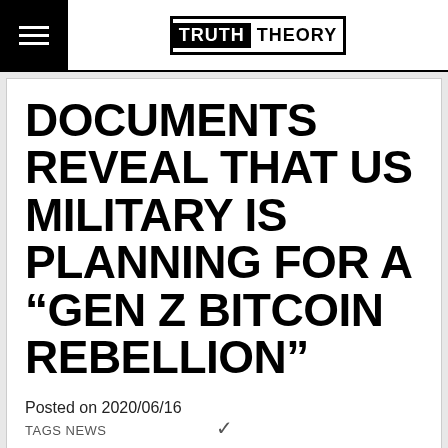TRUTH THEORY
DOCUMENTS REVEAL THAT US MILITARY IS PLANNING FOR A “GEN Z BITCOIN REBELLION”
Posted on 2020/06/16
TAGS NEWS